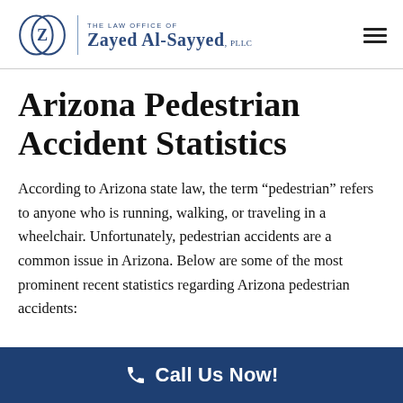The Law Office of Zayed Al-Sayyed, PLLC
Arizona Pedestrian Accident Statistics
According to Arizona state law, the term “pedestrian” refers to anyone who is running, walking, or traveling in a wheelchair. Unfortunately, pedestrian accidents are a common issue in Arizona. Below are some of the most prominent recent statistics regarding Arizona pedestrian accidents:
Call Us Now!